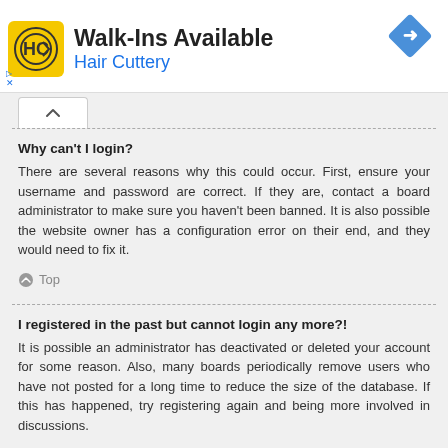[Figure (logo): Hair Cuttery advertisement banner with HC logo, Walk-Ins Available text, and blue navigation arrow icon]
Why can't I login?
There are several reasons why this could occur. First, ensure your username and password are correct. If they are, contact a board administrator to make sure you haven't been banned. It is also possible the website owner has a configuration error on their end, and they would need to fix it.
I registered in the past but cannot login any more?!
It is possible an administrator has deactivated or deleted your account for some reason. Also, many boards periodically remove users who have not posted for a long time to reduce the size of the database. If this has happened, try registering again and being more involved in discussions.
I've lost my password!